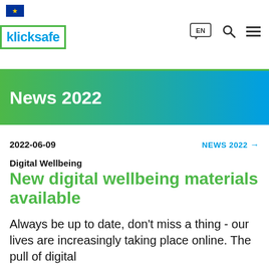klicksafe | EN
News 2022
2022-06-09
NEWS 2022 →
Digital Wellbeing
New digital wellbeing materials available
Always be up to date, don't miss a thing - our lives are increasingly taking place online. The pull of digital